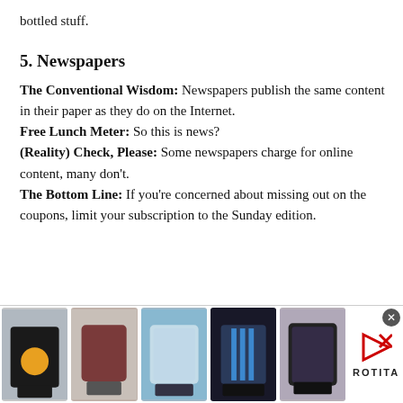bottled stuff.
5. Newspapers
The Conventional Wisdom: Newspapers publish the same content in their paper as they do on the Internet. Free Lunch Meter: So this is news? (Reality) Check, Please: Some newspapers charge for online content, many don't. The Bottom Line: If you're concerned about missing out on the coupons, limit your subscription to the Sunday edition.
[Figure (other): Advertisement banner showing five fashion clothing images and ROTITA brand logo with close button]